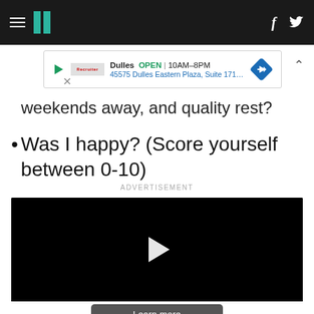HuffPost navigation bar with hamburger menu, logo, Facebook and Twitter icons
[Figure (screenshot): Advertisement banner: Dulles OPEN 10AM-8PM, 45575 Dulles Eastern Plaza, Suite 171, D — with play icon, retailer logo, and blue diamond direction icon]
weekends away, and quality rest?
Was I happy? (Score yourself between 0-10)
ADVERTISEMENT
[Figure (screenshot): Embedded video player with black screen and white play button triangle, with Learn more button below]